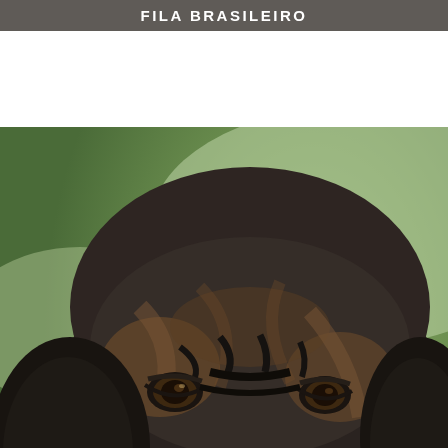FILA BRASILEIRO
[Figure (photo): Close-up portrait photograph of a large brindle Mastiff dog with a massive wrinkled black and tan face, mouth slightly open showing teeth, set against a blurred green outdoor background.]
MASTIFF
[Figure (photo): Partial view of a large gray/blue dog, likely a Neapolitan Mastiff, showing the top of its wrinkled head and back.]